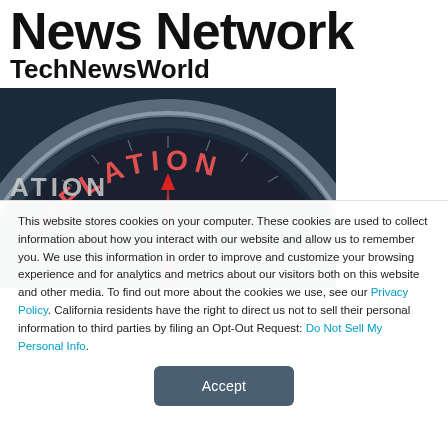News Network
TechNewsWorld
[Figure (photo): A compass dial with the word INFLATION in red text, pointing with an arrow, on a dark background with metallic rim.]
This website stores cookies on your computer. These cookies are used to collect information about how you interact with our website and allow us to remember you. We use this information in order to improve and customize your browsing experience and for analytics and metrics about our visitors both on this website and other media. To find out more about the cookies we use, see our Privacy Policy. California residents have the right to direct us not to sell their personal information to third parties by filing an Opt-Out Request: Do Not Sell My Personal Info.